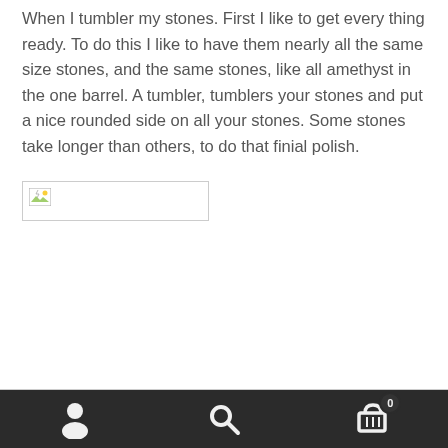When I tumbler my stones. First I like to get every thing ready. To do this I like to have them nearly all the same size stones, and the same stones, like all amethyst in the one barrel. A tumbler, tumblers your stones and put a nice rounded side on all your stones. Some stones take longer than others, to do that finial polish.
[Figure (photo): Broken image placeholder with small image icon on the left, rectangular border]
Navigation bar with user icon, search icon, and cart icon with badge showing 0